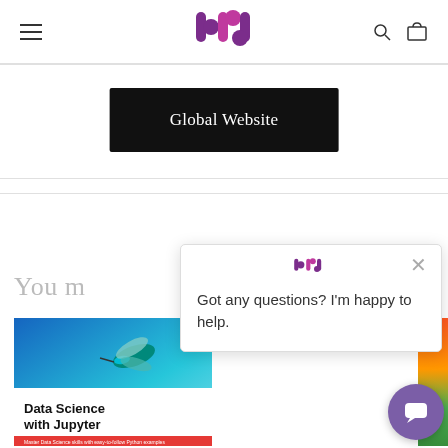[Figure (logo): BPB Publications logo — stylized lowercase 'bpb' letters in purple and magenta]
Global Website
You m
[Figure (photo): Book cover: Data Science with Jupyter — Master Data Science skills with easy-to-follow Python examples, with a hummingbird illustration on blue/teal background]
[Figure (screenshot): Chat popup overlay with BPB logo and message: Got any questions? I'm happy to help.]
[Figure (other): Purple circular chat button with speech bubble icon]